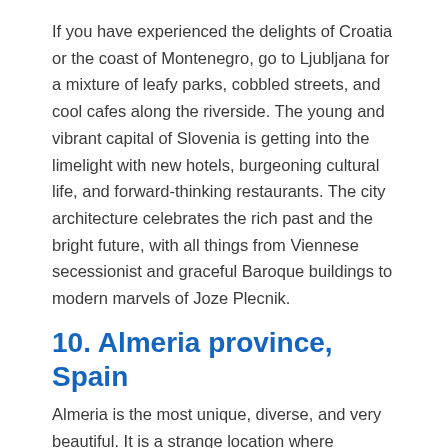If you have experienced the delights of Croatia or the coast of Montenegro, go to Ljubljana for a mixture of leafy parks, cobbled streets, and cool cafes along the riverside. The young and vibrant capital of Slovenia is getting into the limelight with new hotels, burgeoning cultural life, and forward-thinking restaurants. The city architecture celebrates the rich past and the bright future, with all things from Viennese secessionist and graceful Baroque buildings to modern marvels of Joze Plecnik.
10. Almeria province, Spain
Almeria is the most unique, diverse, and very beautiful. It is a strange location where beaches coexist with barren landscapes in Europe. The rocky coastline is long and has many flamingoes for you to